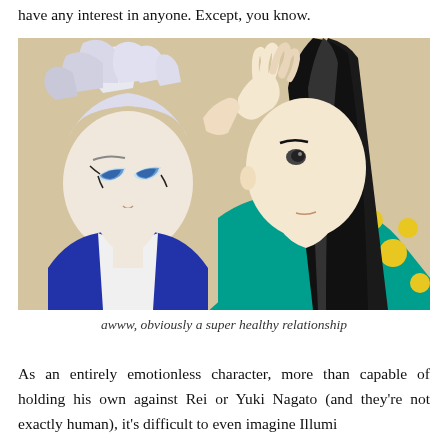have any interest in anyone. Except, you know.
[Figure (illustration): Anime illustration showing two characters facing each other closely: a white-haired character in blue on the left, and a dark-haired character in teal/green outfit with yellow dots on the right, who is touching the white-haired character's head.]
awww, obviously a super healthy relationship
As an entirely emotionless character, more than capable of holding his own against Rei or Yuki Nagato (and they're not exactly human), it's difficult to even imagine Illumi